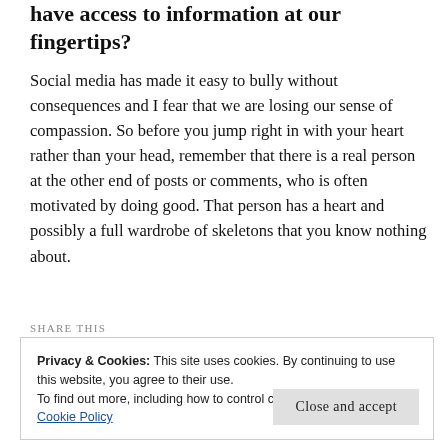have access to information at our fingertips?
Social media has made it easy to bully without consequences and I fear that we are losing our sense of compassion. So before you jump right in with your heart rather than your head, remember that there is a real person at the other end of posts or comments, who is often motivated by doing good. That person has a heart and possibly a full wardrobe of skeletons that you know nothing about.
SHARE THIS
Privacy & Cookies: This site uses cookies. By continuing to use this website, you agree to their use.
To find out more, including how to control cookies, see here:
Cookie Policy
Close and accept